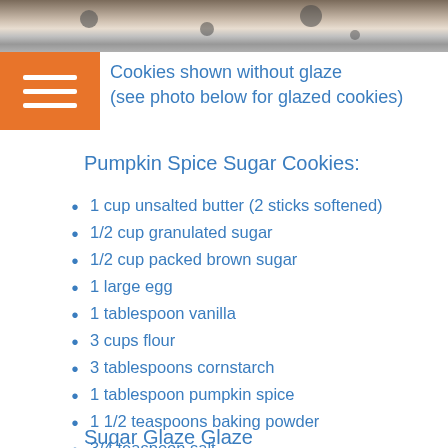[Figure (photo): Partial photo of cookies on a granite/marble surface, cropped at top]
Cookies shown without glaze
(see photo below for glazed cookies)
Pumpkin Spice Sugar Cookies:
1 cup unsalted butter (2 sticks softened)
1/2 cup granulated sugar
1/2 cup packed brown sugar
1 large egg
1 tablespoon vanilla
3 cups flour
3 tablespoons cornstarch
1 tablespoon pumpkin spice
1 1/2 teaspoons baking powder
3/4 teaspoon salt
Sugar Glaze Glaze